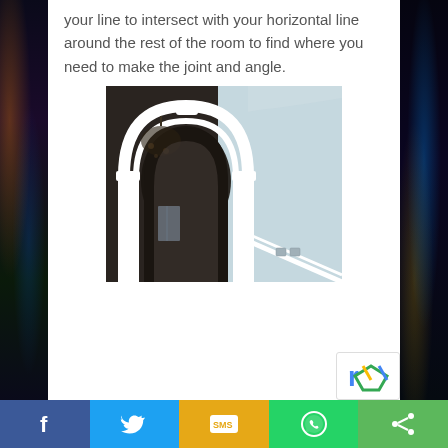your line to intersect with your horizontal line around the rest of the room to find where you need to make the joint and angle.
[Figure (photo): Interior room photo showing a decorative white arched doorway/opening with crown molding. The arch leads to an arched mirror or doorway beyond. Blue-green walls visible with white trim and rail molding along the staircase.]
Social sharing bar with Facebook, Twitter, SMS, WhatsApp, and Share buttons